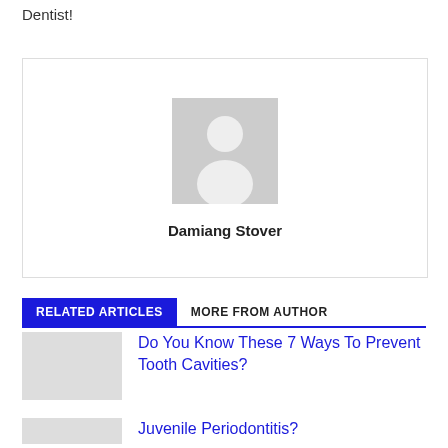Dentist!
[Figure (photo): Author avatar placeholder — grey silhouette of a person on light grey background]
Damiang Stover
RELATED ARTICLES   MORE FROM AUTHOR
Do You Know These 7 Ways To Prevent Tooth Cavities?
Juvenile Periodontitis?